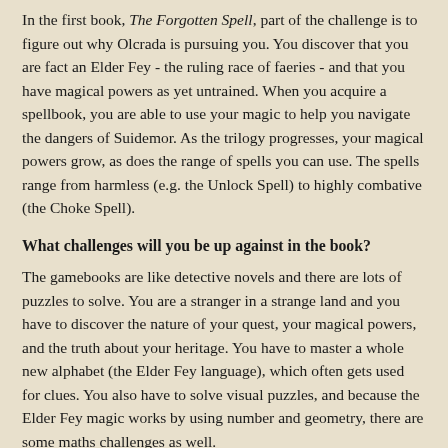In the first book, The Forgotten Spell, part of the challenge is to figure out why Olcrada is pursuing you. You discover that you are fact an Elder Fey - the ruling race of faeries - and that you have magical powers as yet untrained. When you acquire a spellbook, you are able to use your magic to help you navigate the dangers of Suidemor. As the trilogy progresses, your magical powers grow, as does the range of spells you can use. The spells range from harmless (e.g. the Unlock Spell) to highly combative (the Choke Spell).
What challenges will you be up against in the book?
The gamebooks are like detective novels and there are lots of puzzles to solve. You are a stranger in a strange land and you have to discover the nature of your quest, your magical powers, and the truth about your heritage. You have to master a whole new alphabet (the Elder Fey language), which often gets used for clues. You also have to solve visual puzzles, and because the Elder Fey magic works by using number and geometry, there are some maths challenges as well.